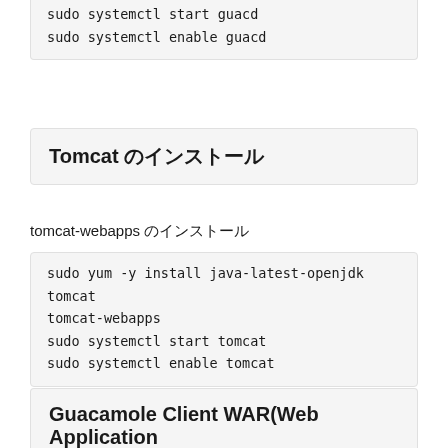sudo systemctl start guacd
sudo systemctl enable guacd
Tomcat のインストール
tomcat-webapps のインストール
sudo yum -y install java-latest-openjdk tomcat tomcat-webapps
sudo systemctl start tomcat
sudo systemctl enable tomcat
Guacamole Client WAR(Web Application Archive)のインストール